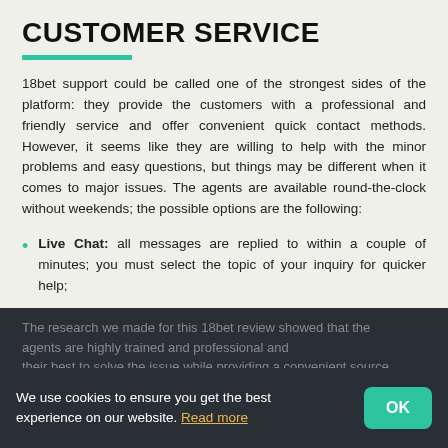CUSTOMER SERVICE
18bet support could be called one of the strongest sides of the platform: they provide the customers with a professional and friendly service and offer convenient quick contact methods. However, it seems like they are willing to help with the minor problems and easy questions, but things may be different when it comes to major issues. The agents are available round-the-clock without weekends; the possible options are the following:
Live Chat: all messages are replied to within a couple of minutes; you must select the topic of your inquiry for quicker help;
Viber and Whatsapp call and messages;
Email: replied within a couple of hours.
The research we made for this 18bet review showed that the agents are highly trained and professional and their best to solve the issue while providing a convenient source...
We use cookies to ensure you get the best experience on our website. Read more